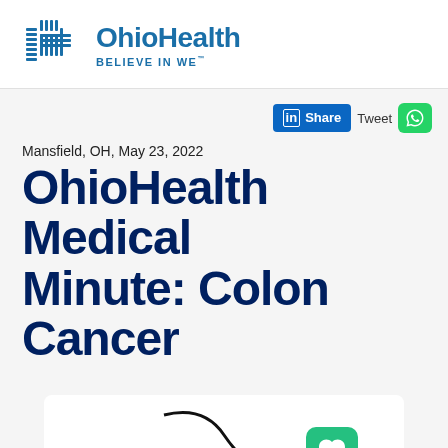[Figure (logo): OhioHealth logo with grid/cross icon and tagline BELIEVE IN WE]
Mansfield, OH, May 23, 2022
[Figure (infographic): LinkedIn Share button, Tweet text, and WhatsApp icon share buttons]
OhioHealth Medical Minute: Colon Cancer
[Figure (logo): OhioHealth logo partial view at bottom of article card]